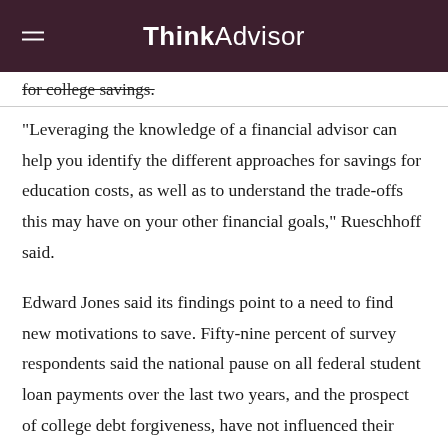ThinkAdvisor
for college savings.
“Leveraging the knowledge of a financial advisor can help you identify the different approaches for savings for education costs, as well as to understand the trade-offs this may have on your other financial goals,” Rueschhoff said.
Edward Jones said its findings point to a need to find new motivations to save. Fifty-nine percent of survey respondents said the national pause on all federal student loan payments over the last two years, and the prospect of college debt forgiveness, have not influenced their savings patterns.